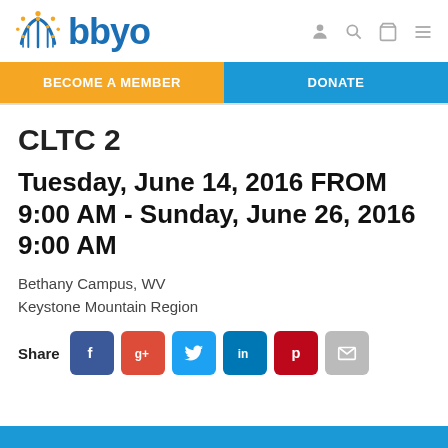BBYO
BECOME A MEMBER   DONATE
CLTC 2
Tuesday, June 14, 2016 FROM 9:00 AM - Sunday, June 26, 2016 9:00 AM
Bethany Campus, WV
Keystone Mountain Region
Share